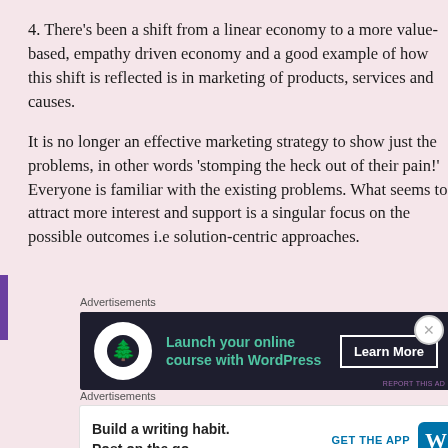4. There's been a shift from a linear economy to a more value-based, empathy driven economy and a good example of how this shift is reflected is in marketing of products, services and causes.
It is no longer an effective marketing strategy to show just the problems, in other words 'stomping the heck out of their pain!' Everyone is familiar with the existing problems. What seems to attract more interest and support is a singular focus on the possible outcomes i.e solution-centric approaches.
Advertisements
[Figure (screenshot): Dark advertisement banner: Launch your online course with WordPress – Learn More button]
Advertisements
[Figure (screenshot): Light advertisement banner: Build a writing habit. Post on the go. GET THE APP WordPress icon]